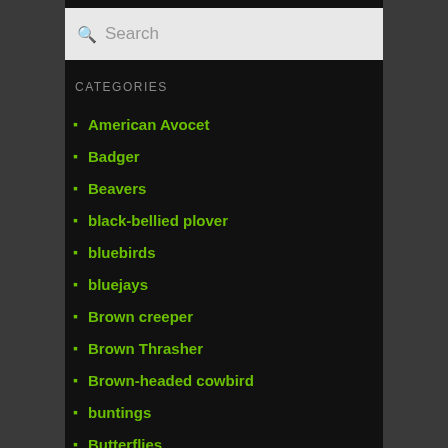[Figure (screenshot): Search bar with magnifying glass icon and placeholder text 'Search' on a light gray background]
CATEGORIES
American Avocet
Badger
Beavers
black-bellied plover
bluebirds
bluejays
Brown creeper
Brown Thrasher
Brown-headed cowbird
buntings
Butterflies
cardinals
catbirds
cats
cedar waxwings
chickadees
coots